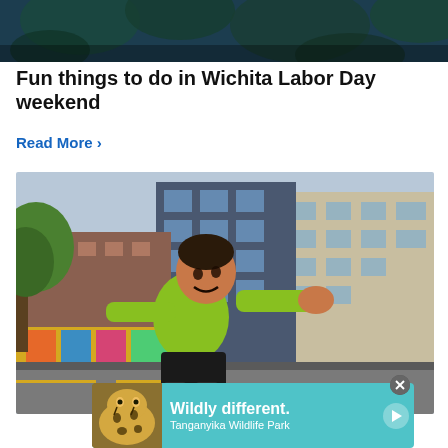[Figure (photo): Partial image at top, dark teal/green floral or leaf pattern background]
Fun things to do in Wichita Labor Day weekend
Read More ›
[Figure (photo): Boy in green shirt on roller skates in downtown Wichita street, buildings and murals in background]
[Figure (photo): Advertisement banner: cheetah photo on left, teal background with white text 'Wildly different. Tanganyika Wildlife Park' and arrow on right]